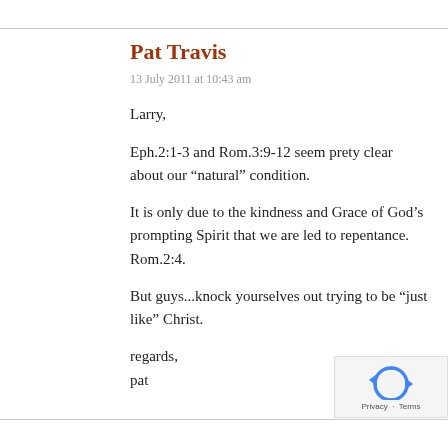Pat Travis
13 July 2011 at 10:43 am
Larry,
Eph.2:1-3 and Rom.3:9-12 seem prety clear about our “natural” condition.
It is only due to the kindness and Grace of God’s prompting Spirit that we are led to repentance. Rom.2:4.
But guys...knock yourselves out trying to be “just like” Christ.
regards,
pat
[Figure (logo): reCAPTCHA logo with Privacy and Terms text]